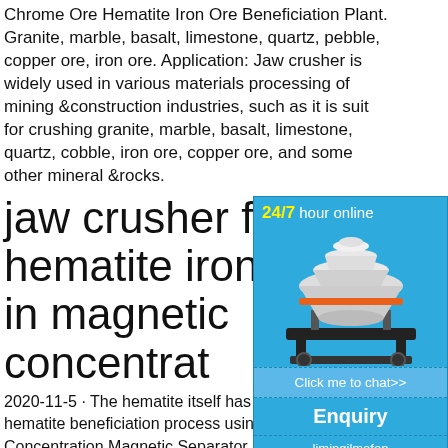Chrome Ore Hematite Iron Ore Beneficiation Plant. Granite, marble, basalt, limestone, quartz, pebble, copper ore, iron ore. Application: Jaw crusher is widely used in various materials processing of mining &construction industries, such as it is suit for crushing granite, marble, basalt, limestone, quartz, cobble, iron ore, copper ore, and some other mineral &rocks.
jaw crusher for hematite iron ore in magnetic concentrat
2020-11-5 · The hematite itself has a mag hematite beneficiation process using For H Concentration Magnetic Separator Price Ge Hematite Concentration Plant hematite ore nt 1 Design the process 2 Train Jaw crusher f e in magnetic concentration . Newsettler. Bel
[Figure (illustration): Ad widget with blue background showing a cone crusher machine image, 24/7 hour online text, Click me to chat>> button, Enquiry button, and limingjlmofen text]
jaw crusher for hematit in magnetic
Small Jaw Crusher, Mobile Crusher, Portab manufacturer / supplier in China, offering M